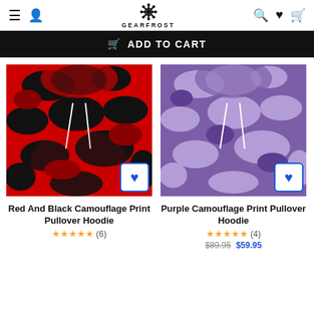GEARFROST
ADD TO CART
[Figure (photo): Red and black camouflage print pullover hoodie product photo with blue heart favorite button]
Red And Black Camouflage Print Pullover Hoodie
★★★★★ (6)
[Figure (photo): Purple camouflage print pullover hoodie product photo with blue heart favorite button]
Purple Camouflage Print Pullover Hoodie
★★★★★ (4)
$89.95 $59.95